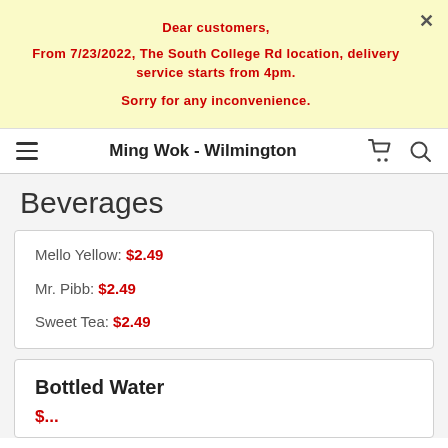Dear customers,
From 7/23/2022, The South College Rd location, delivery service starts from 4pm.
Sorry for any inconvenience.
Ming Wok - Wilmington
Beverages
Mello Yellow: $2.49
Mr. Pibb: $2.49
Sweet Tea: $2.49
Bottled Water